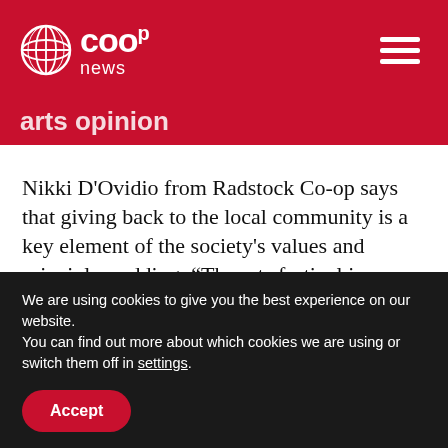co-op news
arts opinion
Nikki D'Ovidio from Radstock Co-op says that giving back to the local community is a key element of the society's values and principles, adding: “The arts festival is a great opportunity for the co-op to come together with other local businesses to support this fantastic event.
We are using cookies to give you the best experience on our website.
You can find out more about which cookies we are using or switch them off in settings.
Accept